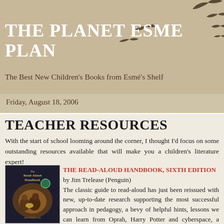THE PLANET ESME PLAN
The Best New Children's Books from Esmé's Shelf
Friday, August 18, 2006
TEACHER RESOURCES
With the start of school looming around the corner, I thought I'd focus on some outstanding resources available that will make you a children's literature expert!
[Figure (illustration): Book cover of The Read-Aloud Handbook showing two figures sitting together with a warm light glow, title and author Jim Trelease at the bottom]
THE READ-ALOUD HANDBOOK, SIXTH EDITION by Jim Trelease (Penguin)
The classic guide to read-aloud has just been reissued with new, up-to-date research supporting the most successful approach in pedagogy, a bevy of helpful hints, lessons we can learn from Oprah, Harry Potter and cyberspace, a treasury of read-aloud titles, and a